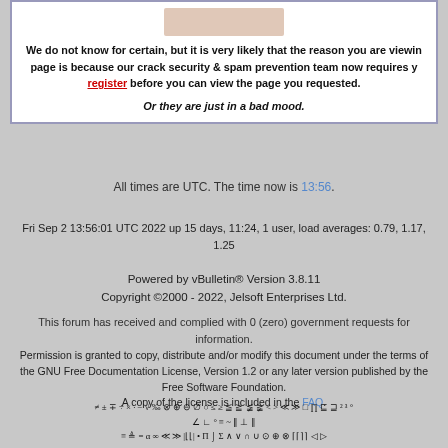We do not know for certain, but it is very likely that the reason you are viewing this page is because our crack security & spam prevention team now requires you to register before you can view the page you requested.

Or they are just in a bad mood.
All times are UTC. The time now is 13:56.
Fri Sep 2 13:56:01 UTC 2022 up 15 days, 11:24, 1 user, load averages: 0.79, 1.17, 1.25
Powered by vBulletin® Version 3.8.11
Copyright ©2000 - 2022, Jelsoft Enterprises Ltd.
This forum has received and complied with 0 (zero) government requests for information.
Permission is granted to copy, distribute and/or modify this document under the terms of the GNU Free Documentation License, Version 1.2 or any later version published by the Free Software Foundation.
A copy of the license is included in the FAQ.
≠ ± ∓ ÷ × · − √ ‰ ⊗ ⊕ ⊖ ∅ ○ ≤ ≥ ≦ ≧ ≨ ≩ < > ≪ ≫ □ ∏ ⊑ ⊒ ² ³ °
∠ ∟ ° ≡ ~ ‖ ⊥ ∥
≡ ≜ = α ∞ ≪ ≫ |⌊⌊| • Π ⌡ Σ ∧ ∨ ∩ ∪ ⊙ ⊕ ⊗ ⌈⌈⌉⌉ ◁ ▷
∅ \ ⊂ ↦ ↦ ∩ ∪ ⊆ ⊂ ⊄ ⊆ ⊇ ⊃ ≠ ⊇ ⊖ ∈ ⊄ ∋ ∉ ℕ ℤ ℚ ℝ ℂ ℵ ⊐ ⌋ ⌞
¬ ∨ ∧ ⊕ → ← ⇒ ⇐ ⇔ ∀ ∃ ∄ ∵ ∴ ⊤ ⊥ ⊢ ⊨ ⊡ ⊣ … ⋯ ⋮ ⋱
∫ ∬ ∭ ∲ ∳ ⊞ ∇ Δ ∂ ℱ ℒ ℓ